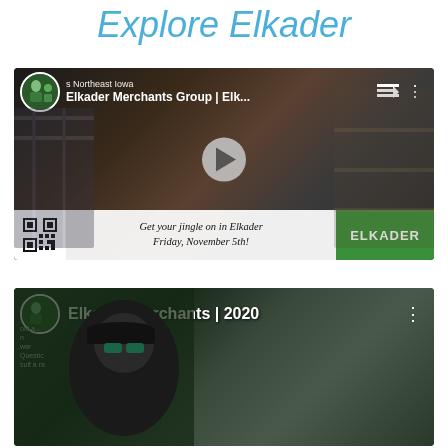Explore Elkader
[Figure (screenshot): Video thumbnail for 'Elkader Merchants Group | Elk...' showing a retail clothing store interior with flannel shirts and merchandise on display. Features a play button, QR code, caption 'Get your jingle on in Elkader Friday, November 5th!' and a green ELKADER button.]
[Figure (screenshot): Video thumbnail for 'Elkader Merchants | 2020' showing a man wearing a black cap and sunglasses outdoors, with archery targets visible on the right side.]